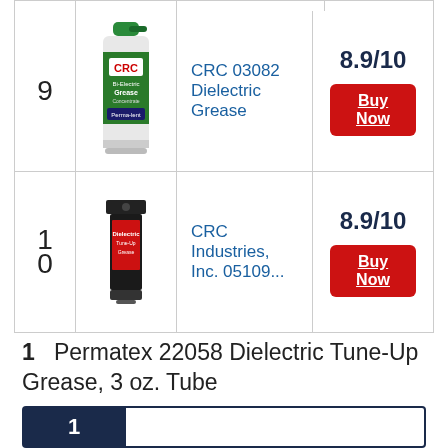| # | Image | Product | Score |
| --- | --- | --- | --- |
| 9 | [CRC spray can] | CRC 03082 Dielectric Grease | 8.9/10 |
| 10 | [CRC tube] | CRC Industries, Inc. 05109... | 8.9/10 |
1  Permatex 22058 Dielectric Tune-Up Grease, 3 oz. Tube
[Figure (infographic): Rating bar with label '1' on dark navy background, followed by empty bar track with navy border]